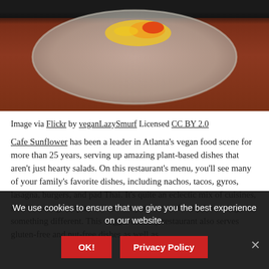[Figure (photo): Partial overhead view of a plate of food on a wooden table, with dark background at top. Shows what appears to be tacos or similar dish with colorful toppings.]
Image via Flickr by veganLazySmurf Licensed CC BY 2.0
Cafe Sunflower has been a leader in Atlanta's vegan food scene for more than 25 years, serving up amazing plant-based dishes that aren't just hearty salads. On this restaurant's menu, you'll see many of your family's favorite dishes, including nachos, tacos, gyros, lasagna, burgers, and pad Thai. It's quite an eclectic mix of cuisines, so it's also a great place when everyone in the family is craving something different. This veggie-friendly restaurant also serves gluten-free and nut-free dishes as well as
We use cookies to ensure that we give you the best experience on our website. OK! Privacy Policy